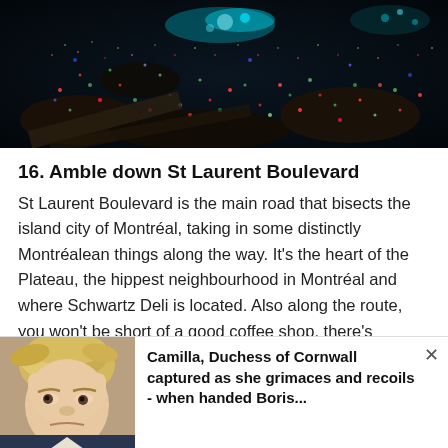[Figure (photo): Overhead night-time photo of a light display garden with colorful red, green, teal and blue laser/LED lights illuminating rocks and ground cover in darkness]
16. Amble down St Laurent Boulevard
St Laurent Boulevard is the main road that bisects the island city of Montréal, taking in some distinctly Montréalean things along the way. It's the heart of the Plateau, the hippest neighbourhood in Montréal and where Schwartz Deli is located. Also along the route, you won't be short of a good coffee shop, there's vintage shops a-go go, and you'll also find some incredible (and city-sanctioned) street art that turns the
[Figure (photo): Advertisement overlay showing a photo of Boris Johnson on the left and text on the right reading: Camilla, Duchess of Cornwall captured as she grimaces and recoils - when handed Boris... with an X close button]